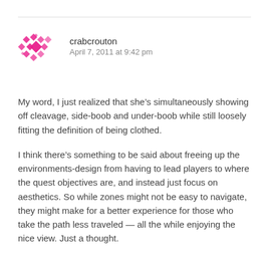[Figure (logo): Pink diamond-pattern avatar icon for user crabcrouton]
crabcrouton
April 7, 2011 at 9:42 pm
My word, I just realized that she’s simultaneously showing off cleavage, side-boob and under-boob while still loosely fitting the definition of being clothed.
I think there’s something to be said about freeing up the environments-design from having to lead players to where the quest objectives are, and instead just focus on aesthetics. So while zones might not be easy to navigate, they might make for a better experience for those who take the path less traveled — all the while enjoying the nice view. Just a thought.